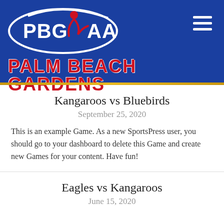[Figure (logo): PBGYAA Palm Beach Gardens Youth Athletic Association logo with blue oval, white text PBGYAA, red figure, and red cursive text PALM BEACH GARDENS with white YOUTH ATHLETIC ASSOCIATION INC below]
Kangaroos vs Bluebirds
September 25, 2020
This is an example Game. As a new SportsPress user, you should go to your dashboard to delete this Game and create new Games for your content. Have fun!
Eagles vs Kangaroos
June 15, 2020